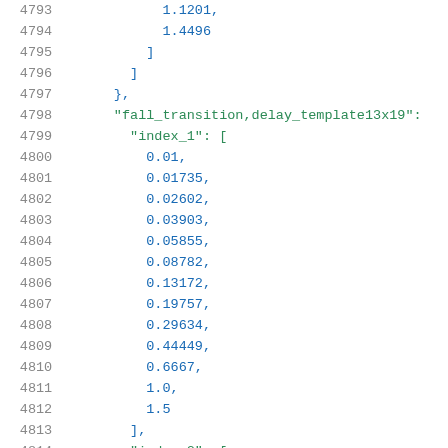Code listing lines 4793-4814 showing JSON data structure with fall_transition delay_template13x19 values
4793: 1.1201,
4794:     1.4496
4795:   ]
4796: ]
4797: },
4798: "fall_transition,delay_template13x19":
4799:   "index_1": [
4800:     0.01,
4801:     0.01735,
4802:     0.02602,
4803:     0.03903,
4804:     0.05855,
4805:     0.08782,
4806:     0.13172,
4807:     0.19757,
4808:     0.29634,
4809:     0.44449,
4810:     0.6667,
4811:     1.0,
4812:     1.5
4813:   ],
4814:   "index_2": [